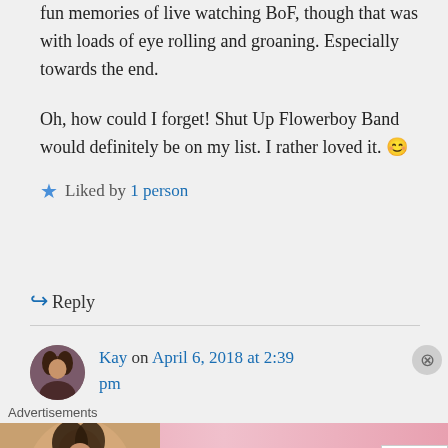fun memories of live watching BoF, though that was with loads of eye rolling and groaning. Especially towards the end.
Oh, how could I forget! Shut Up Flowerboy Band would definitely be on my list. I rather loved it. 😊
★ Liked by 1 person
↪ Reply
Kay on April 6, 2018 at 2:39 pm
[Figure (other): Victoria's Secret advertisement banner with model photo, VS logo, 'SHOP THE COLLECTION' text, and 'SHOP NOW' button]
Advertisements